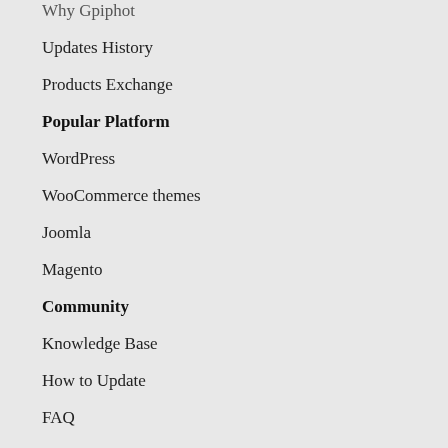Why Gpiphot
Updates History
Products Exchange
Popular Platform
WordPress
WooCommerce themes
Joomla
Magento
Community
Knowledge Base
How to Update
FAQ